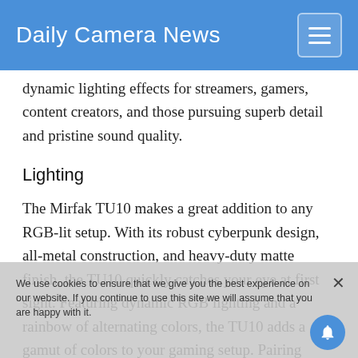Daily Camera News
dynamic lighting effects for streamers, gamers, content creators, and those pursuing superb detail and pristine sound quality.
Lighting
The Mirfak TU10 makes a great addition to any RGB-lit setup. With its robust cyberpunk design, all-metal construction, and heavy-duty matte finish, the TU10 quickly catches your eye at first sight. Featuring dynamic RGB lighting and a rainbow of alternating colors, the TU10 adds a gamut of colors to your gaming setup. Pairing perfectly with your other gaming accessories, the TU10 will quickly immerse you into an incredible and exciting atmosphere, bringing you the ultimate gaming experience.
We use cookies to ensure that we give you the best experience on our website. If you continue to use this site we will assume that you are happy with it.